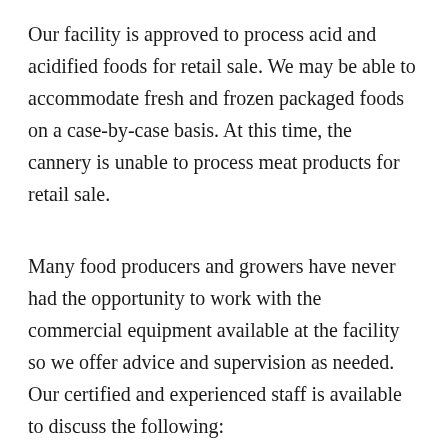Our facility is approved to process acid and acidified foods for retail sale. We may be able to accommodate fresh and frozen packaged foods on a case-by-case basis. At this time, the cannery is unable to process meat products for retail sale.
Many food producers and growers have never had the opportunity to work with the commercial equipment available at the facility so we offer advice and supervision as needed. Our certified and experienced staff is available to discuss the following:
Sanitation guidelines
Food processing regulations